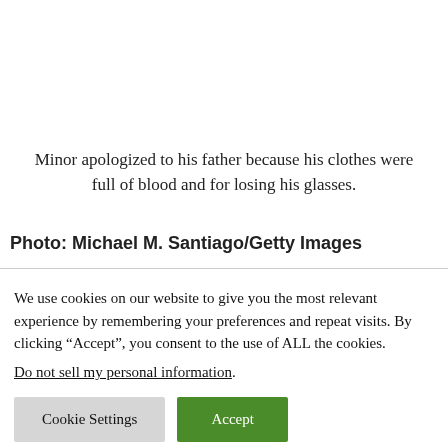Minor apologized to his father because his clothes were full of blood and for losing his glasses.
Photo: Michael M. Santiago/Getty Images
We use cookies on our website to give you the most relevant experience by remembering your preferences and repeat visits. By clicking “Accept”, you consent to the use of ALL the cookies.
Do not sell my personal information.
Cookie Settings
Accept